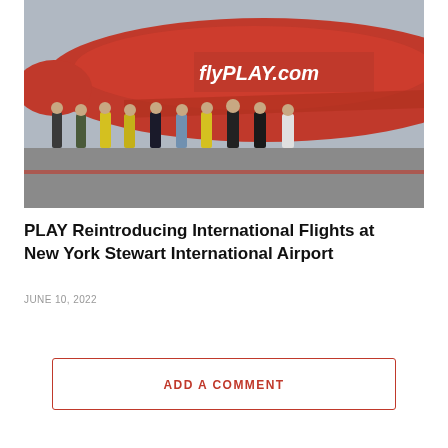[Figure (photo): Group of approximately 10 people standing in front of a red PLAY Airlines aircraft on an airport tarmac. The aircraft has 'flyPLAY.com' written on its fuselage. Several people are wearing high-visibility yellow jackets, others are in business attire or dark clothing.]
PLAY Reintroducing International Flights at New York Stewart International Airport
JUNE 10, 2022
ADD A COMMENT